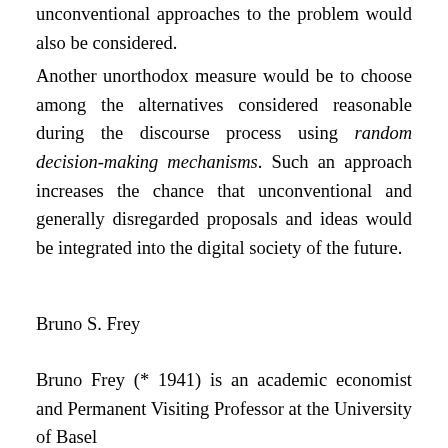unconventional approaches to the problem would also be considered.
Another unorthodox measure would be to choose among the alternatives considered reasonable during the discourse process using random decision-making mechanisms. Such an approach increases the chance that unconventional and generally disregarded proposals and ideas would be integrated into the digital society of the future.
Bruno S. Frey
Bruno Frey (* 1941) is an academic economist and Permanent Visiting Professor at the University of Basel